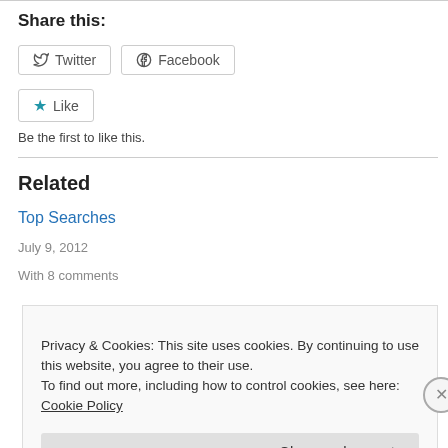Share this:
Twitter  Facebook
Like
Be the first to like this.
Related
Top Searches
July 9, 2012
With 8 comments
Privacy & Cookies: This site uses cookies. By continuing to use this website, you agree to their use.
To find out more, including how to control cookies, see here: Cookie Policy
Close and accept